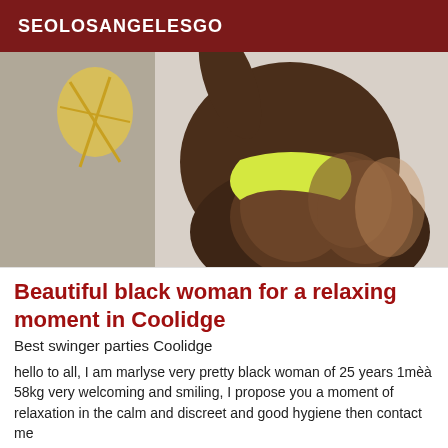SEOLOSANGELESGO
[Figure (photo): A woman photographed from behind wearing a yellow bikini bottom, posed against a light wall.]
Beautiful black woman for a relaxing moment in Coolidge
Best swinger parties Coolidge
hello to all, I am marlyse very pretty black woman of 25 years 1mèà 58kg very welcoming and smiling, I propose you a moment of relaxation in the calm and discreet and good hygiene then contact me